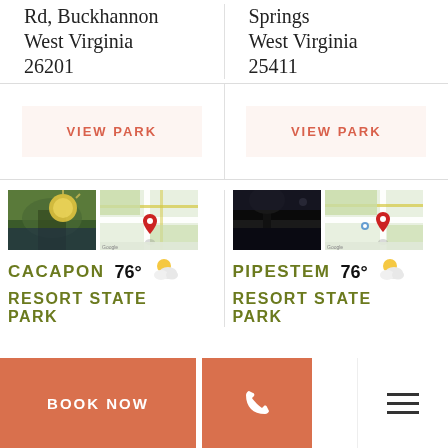Rd, Buckhannon West Virginia 26201
Springs West Virginia 25411
VIEW PARK
VIEW PARK
[Figure (photo): Outdoor park scene with sunlight through trees near water]
[Figure (map): Google Maps showing location with red pin marker]
CACAPON RESORT STATE PARK 76°
[Figure (photo): Dark night sky with silhouette of structure]
[Figure (map): Google Maps showing Pipestem location with red pin marker]
PIPESTEM RESORT STATE PARK 76°
BOOK NOW
[Figure (other): Phone icon button]